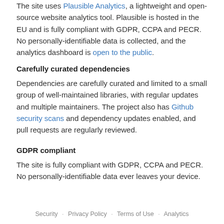The site uses Plausible Analytics, a lightweight and open-source website analytics tool. Plausible is hosted in the EU and is fully compliant with GDPR, CCPA and PECR. No personally-identifiable data is collected, and the analytics dashboard is open to the public.
Carefully curated dependencies
Dependencies are carefully curated and limited to a small group of well-maintained libraries, with regular updates and multiple maintainers. The project also has Github security scans and dependency updates enabled, and pull requests are regularly reviewed.
GDPR compliant
The site is fully compliant with GDPR, CCPA and PECR. No personally-identifiable data ever leaves your device.
Security · Privacy Policy · Terms of Use · Analytics